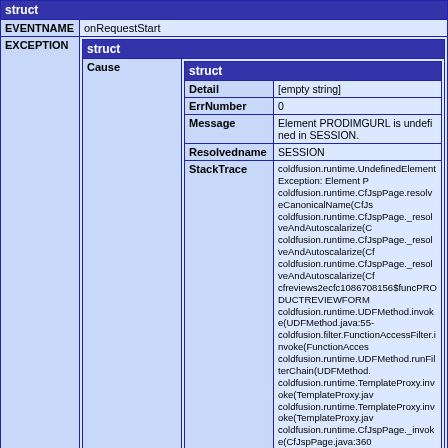| struct |
| --- |
| EVENTNAME | onRequestStart |
| EXCEPTION | {'nested': 'struct with Cause containing Detail, ErrNumber, Message, Resolvedname, StackTrace'} |